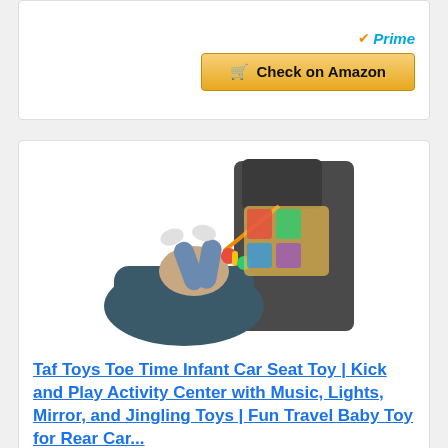[Figure (screenshot): Amazon Prime badge and Check on Amazon button at top of card]
[Figure (photo): Baby in a car seat with a colorful kick and play toy attached to the back of the front seat headrest]
Taf Toys Toe Time Infant Car Seat Toy | Kick and Play Activity Center with Music, Lights, Mirror, and Jingling Toys | Fun Travel Baby Toy for Rear Car...
[Figure (screenshot): Amazon Prime badge and Check on Amazon button at bottom of second card]